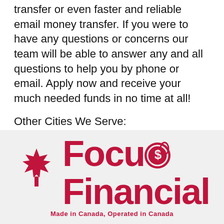transfer or even faster and reliable email money transfer. If you were to have any questions or concerns our team will be able to answer any and all questions to help you by phone or email. Apply now and receive your much needed funds in no time at all!
Other Cities We Serve:
Markham, ON
[Figure (logo): Focus Financial logo with Canadian maple leaf icon on the left, large red text reading 'Focus Financial' with a coin/dollar symbol replacing the 's' in Focus, and tagline 'Made in Canada, Operated in Canada' below]